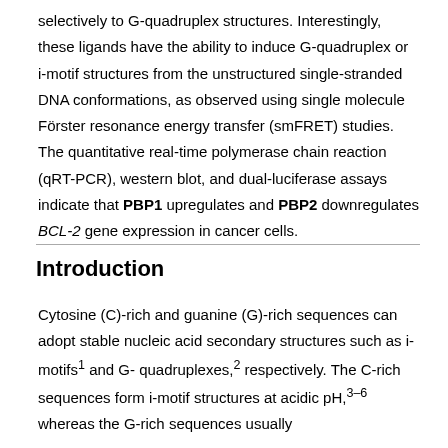selectively to G-quadruplex structures. Interestingly, these ligands have the ability to induce G-quadruplex or i-motif structures from the unstructured single-stranded DNA conformations, as observed using single molecule Förster resonance energy transfer (smFRET) studies. The quantitative real-time polymerase chain reaction (qRT-PCR), western blot, and dual-luciferase assays indicate that PBP1 upregulates and PBP2 downregulates BCL-2 gene expression in cancer cells.
Introduction
Cytosine (C)-rich and guanine (G)-rich sequences can adopt stable nucleic acid secondary structures such as i-motifs1 and G-quadruplexes,2 respectively. The C-rich sequences form i-motif structures at acidic pH,3–6 whereas the G-rich sequences usually